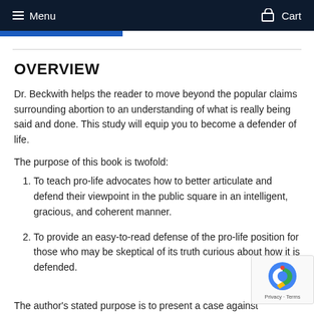Menu   Cart
OVERVIEW
Dr. Beckwith helps the reader to move beyond the popular claims surrounding abortion to an understanding of what is really being said and done. This study will equip you to become a defender of life.
The purpose of this book is twofold:
1. To teach pro-life advocates how to better articulate and defend their viewpoint in the public square in an intelligent, gracious, and coherent manner.
2. To provide an easy-to-read defense of the pro-life position for those who may be skeptical of its truth curious about how it is defended.
The author's stated purpose is to present a case against